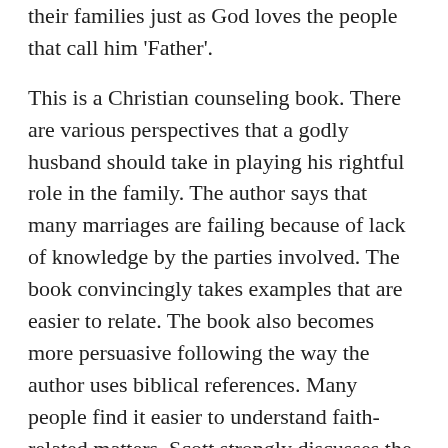their families just as God loves the people that call him ‘Father’.
This is a Christian counseling book. There are various perspectives that a godly husband should take in playing his rightful role in the family. The author says that many marriages are failing because of lack of knowledge by the parties involved. The book convincingly takes examples that are easier to relate. The book also becomes more persuasive following the way the author uses biblical references. Many people find it easier to understand faith-related matters. Scott strongly discusses the responsibilities of a husband in the family. The author therefore admonishes husbands to be the source of security in the family. He says that a husband should provide financial, physical, and moral security to the family. This is a strong point of the book. Husbands should protect their families.
[partial text continues below]